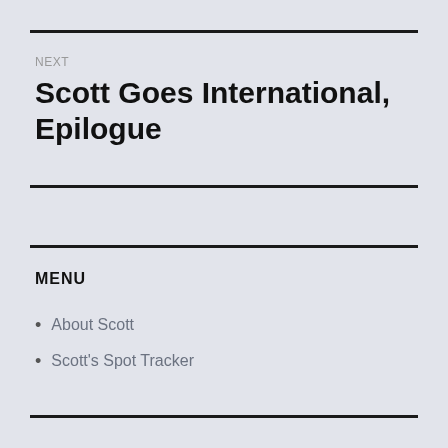NEXT
Scott Goes International, Epilogue
MENU
About Scott
Scott's Spot Tracker